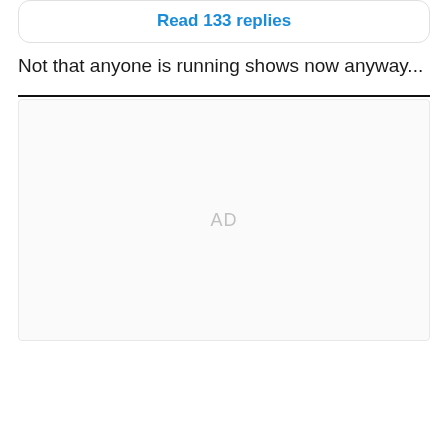Read 133 replies
Not that anyone is running shows now anyway...
AD